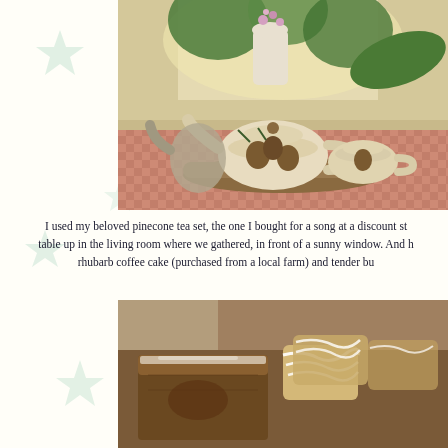[Figure (photo): A pinecone-decorated ceramic tea set (teapot, creamer, sugar bowl) on a tray on a table with a red checkered cloth, with flowers in a white pitcher by a sunny window in the background.]
I used my beloved pinecone tea set, the one I bought for a song at a discount st… table up in the living room where we gathered, in front of a sunny window. And h… rhubarb coffee cake (purchased from a local farm) and tender bu…
[Figure (photo): Close-up of baked goods: slices of rhubarb coffee cake with powdered sugar and glazed pastries/scones with white icing drizzled on top.]